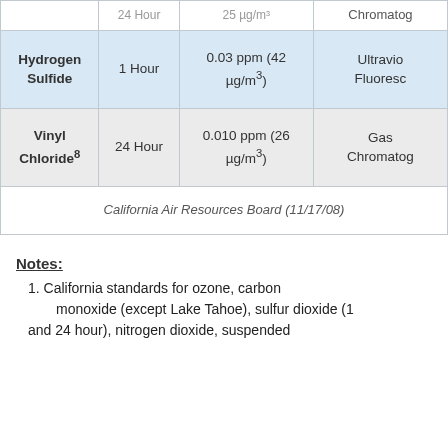| Pollutant | Averaging Time | Concentration | Measurement Method |
| --- | --- | --- | --- |
| [partial top row] | 24 Hour | 25 µg/m³ | Chromatog... |
| Hydrogen Sulfide | 1 Hour | 0.03 ppm (42 µg/m³) | Ultraviolet Fluoresc... |
| Vinyl Chloride⁸ | 24 Hour | 0.010 ppm (26 µg/m³) | Gas Chromatog... |
| California Air Resources Board (11/17/08) |  |  |  |
Notes:
1. California standards for ozone, carbon monoxide (except Lake Tahoe), sulfur dioxide (1 and 24 hour), nitrogen dioxide, suspended